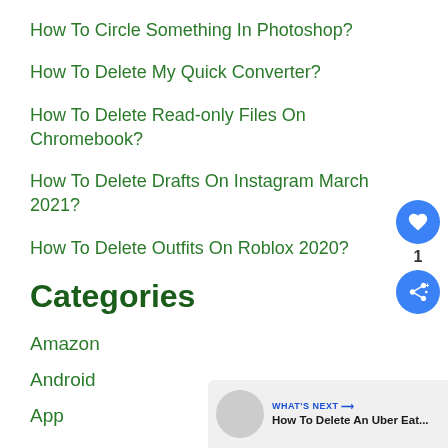How To Circle Something In Photoshop?
How To Delete My Quick Converter?
How To Delete Read-only Files On Chromebook?
How To Delete Drafts On Instagram March 2021?
How To Delete Outfits On Roblox 2020?
Categories
Amazon
Android
App